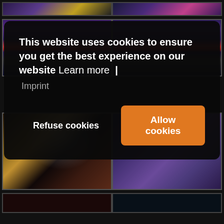[Figure (photo): Top row - two partially visible concert/performance photos]
[Figure (photo): Middle row left - group of performers on stage with purple lighting and red banner]
[Figure (photo): Middle row right - group of performers on stage with blue/purple lighting]
[Figure (photo): Lower row left - male and female duo performing on stage with yellow spotlights]
[Figure (photo): Lower row right - female performer with floral headdress singing into microphone with blue lighting]
[Figure (photo): Bottom row - two partially visible dark performance photos]
This website uses cookies to ensure you get the best experience on our website Learn more | Imprint
Refuse cookies
Allow cookies